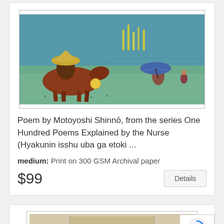[Figure (illustration): Japanese woodblock print showing figures on horseback and with an umbrella in a landscape scene with water and distant structures]
Poem by Motoyoshi Shinnō, from the series One Hundred Poems Explained by the Nurse (Hyakunin isshu uba ga etoki ...
medium: Print on 300 GSM Archival paper
$99
Details
[Figure (illustration): Bottom portion of a second Japanese artwork card, partially visible]